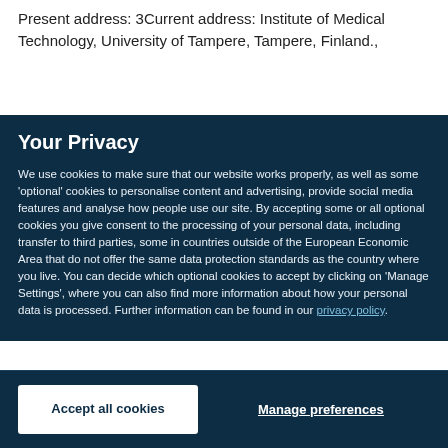Present address: 3Current address: Institute of Medical Technology, University of Tampere, Tampere, Finland.,
Your Privacy
We use cookies to make sure that our website works properly, as well as some 'optional' cookies to personalise content and advertising, provide social media features and analyse how people use our site. By accepting some or all optional cookies you give consent to the processing of your personal data, including transfer to third parties, some in countries outside of the European Economic Area that do not offer the same data protection standards as the country where you live. You can decide which optional cookies to accept by clicking on 'Manage Settings', where you can also find more information about how your personal data is processed. Further information can be found in our privacy policy.
Accept all cookies
Manage preferences